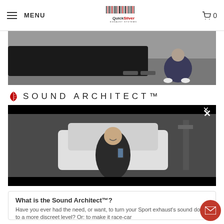MENU | QuickSilver Exhaust Systems | Cart 0
[Figure (photo): Photo showing the underside rear of a dark car with a person crouching behind it in a parking lot]
SOUND ARCHITECT™
[Figure (screenshot): Video player showing a man smiling and holding a smartphone while sitting by a white car in a garage, with a close button (X) in the top right]
What is the Sound Architect™?
Have you ever had the need, or want, to turn your Sport exhaust's sound down to a more discreet level? Or: to make it race-car